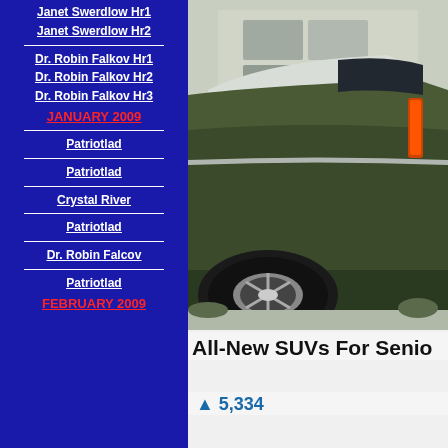Janet Swerdlow Hr1
Janet Swerdlow Hr2
Dr. Robin Falkov Hr1
Dr. Robin Falkov Hr2
Dr. Robin Falkov Hr3
JANUARY 2009
Patriotlad
Patriotlad
Crystal River
Patriotlad
Dr. Robin Falcov
Patriotlad
FEBRUARY 2009
[Figure (photo): Rear three-quarter view of a large dark green SUV parked in front of a modern building]
All-New SUVs For Senio
5,334